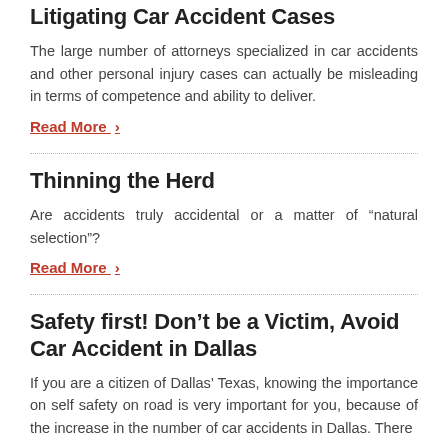Litigating Car Accident Cases
The large number of attorneys specialized in car accidents and other personal injury cases can actually be misleading in terms of competence and ability to deliver.
Read More ›
Thinning the Herd
Are accidents truly accidental or a matter of “natural selection”?
Read More ›
Safety first! Don’t be a Victim, Avoid Car Accident in Dallas
If you are a citizen of Dallas’ Texas, knowing the importance on self safety on road is very important for you, because of the increase in the number of car accidents in Dallas. There